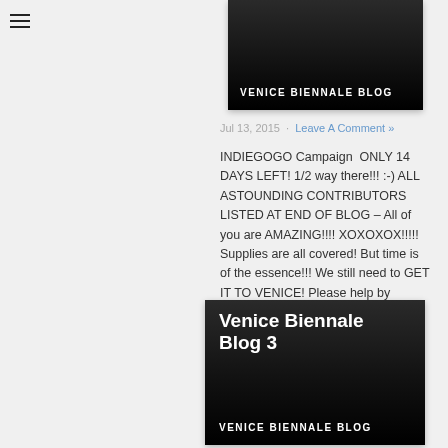[Figure (screenshot): Venice Biennale Blog header card with dark background and uppercase text 'VENICE BIENNALE BLOG']
Jul 13, 2015 · Leave A Comment »
INDIEGOGO Campaign  ONLY 14 DAYS LEFT! 1/2 way there!!! :-) ALL ASTOUNDING CONTRIBUTORS LISTED AT END OF BLOG – All of you are AMAZING!!!! XOXOXOX!!!!! Supplies are all covered! But time is of the essence!!! We still need to GET IT TO VENICE! Please help by Picking a Perk and get this project to Venice! […]
[Figure (screenshot): Venice Biennale Blog 3 dark card with title 'Venice Biennale Blog 3' and label 'VENICE BIENNALE BLOG' at bottom]